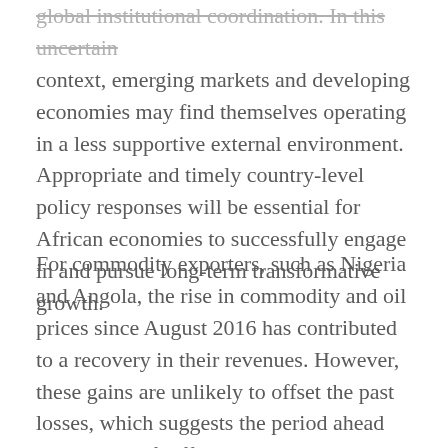global institutional coordination. In this uncertain context, emerging markets and developing economies may find themselves operating in a less supportive external environment. Appropriate and timely country-level policy responses will be essential for African economies to successfully engage in and pursue long-term transformative growth.
For commodity exporters, such as Nigeria and Angola, the rise in commodity and oil prices since August 2016 has contributed to a recovery in their revenues. However, these gains are unlikely to offset the past losses, which suggests the period ahead will be one of difficult continued adjustment. The additional challenges of weak external positions, rising debt and depreciated currencies will affect other commodity